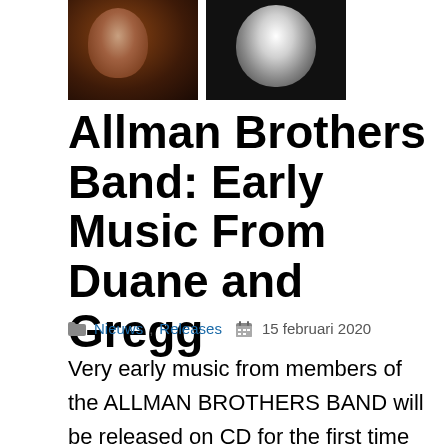[Figure (photo): Two album cover images side by side: left is a dark reddish-brown image with a figure, right is a black and white sketch-style portrait of a person with long hair]
Allman Brothers Band: Early Music From Duane and Gregg
Nieuws, Releases   15 februari 2020
Very early music from members of the ALLMAN BROTHERS BAND will be released on CD for the first time March 27, and vinyl that has been out of print since the late 1960's will be available as well. In all, four albums will trace